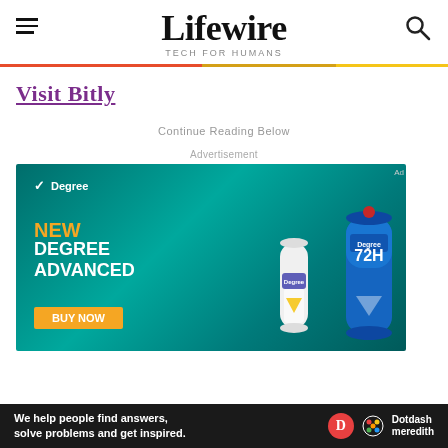Lifewire TECH FOR HUMANS
Visit Bitly
Continue Reading Below
Advertisement
[Figure (photo): Advertisement for Degree Advanced deodorant showing two deodorant cans (one white/yellow and one blue) on a teal background with text NEW DEGREE ADVANCED and a BUY NOW button.]
We help people find answers, solve problems and get inspired. Dotdash meredith